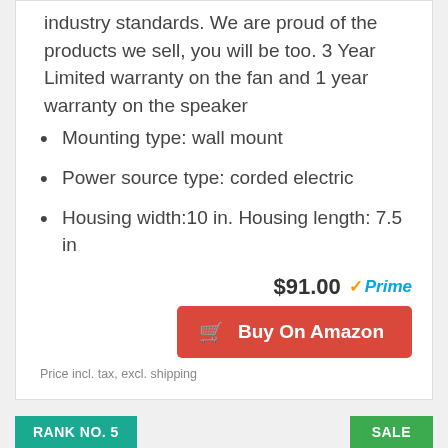industry standards. We are proud of the products we sell, you will be too. 3 Year Limited warranty on the fan and 1 year warranty on the speaker
Mounting type: wall mount
Power source type: corded electric
Housing width:10 in. Housing length: 7.5 in
$91.00 ✓Prime
Buy On Amazon
Price incl. tax, excl. shipping
RANK NO. 5
SALE